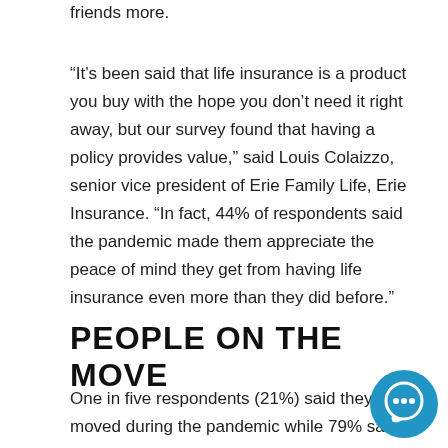friends more.
“It’s been said that life insurance is a product you buy with the hope you don’t need it right away, but our survey found that having a policy provides value,” said Louis Colaizzo, senior vice president of Erie Family Life, Erie Insurance. “In fact, 44% of respondents said the pandemic made them appreciate the peace of mind they get from having life insurance even more than they did before.”
PEOPLE ON THE MOVE
One in five respondents (21%) said they moved during the pandemic while 79% said they stayed put.